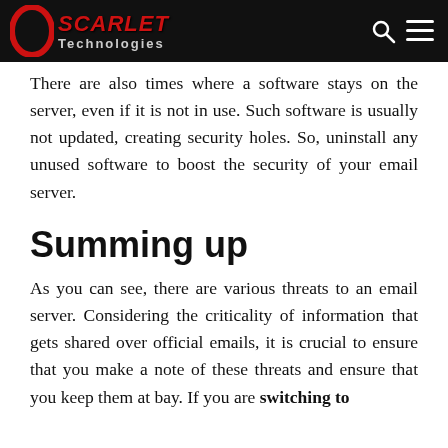SCARLET Technologies
There are also times where a software stays on the server, even if it is not in use. Such software is usually not updated, creating security holes. So, uninstall any unused software to boost the security of your email server.
Summing up
As you can see, there are various threats to an email server. Considering the criticality of information that gets shared over official emails, it is crucial to ensure that you make a note of these threats and ensure that you keep them at bay. If you are switching to